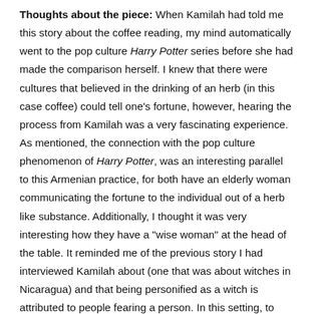Thoughts about the piece: When Kamilah had told me this story about the coffee reading, my mind automatically went to the pop culture Harry Potter series before she had made the comparison herself. I knew that there were cultures that believed in the drinking of an herb (in this case coffee) could tell one's fortune, however, hearing the process from Kamilah was a very fascinating experience. As mentioned, the connection with the pop culture phenomenon of Harry Potter, was an interesting parallel to this Armenian practice, for both have an elderly woman communicating the fortune to the individual out of a herb like substance. Additionally, I thought it was very interesting how they have a "wise woman" at the head of the table. It reminded me of the previous story I had interviewed Kamilah about (one that was about witches in Nicaragua) and that being personified as a witch is attributed to people fearing a person. In this setting, to me, it seems a that this fortune telling can be